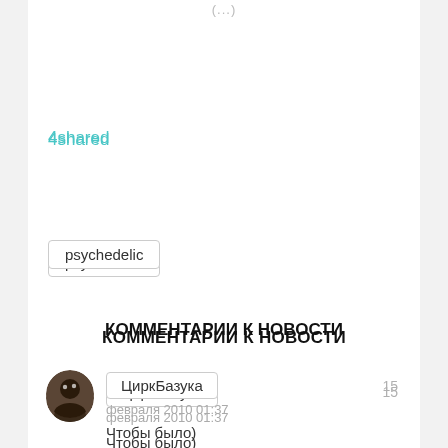4shared
psychedelic
КОММЕНТАРИИ К НОВОСТИ
[Figure (photo): User avatar for ЦиркБазука - dark circular profile photo]
ЦиркБазука
15
февраля 2010 01:37
Чтобы было)
жалоба
[Figure (photo): User avatar for dr65 - golden/warm toned circular profile photo]
dr65
24 марта 2010
08:48